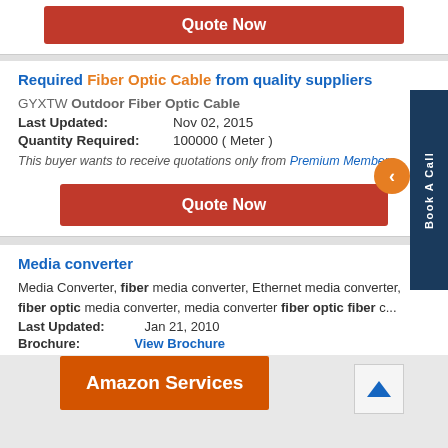[Figure (screenshot): Red Quote Now button at top of page]
Required Fiber Optic Cable from quality suppliers
GYXTW Outdoor Fiber Optic Cable
Last Updated: Nov 02, 2015
Quantity Required: 100000 ( Meter )
This buyer wants to receive quotations only from Premium Members .
[Figure (screenshot): Red Quote Now button in section]
Media converter
Media Converter, fiber media converter, Ethernet media converter, fiber optic media converter, media converter fiber optic fiber c...
Last Updated: Jan 21, 2010
Brochure: View Brochure
[Figure (screenshot): Amazon Services orange banner overlay]
[Figure (screenshot): Scroll up arrow button]
[Figure (screenshot): Book A Call sidebar and chevron button]